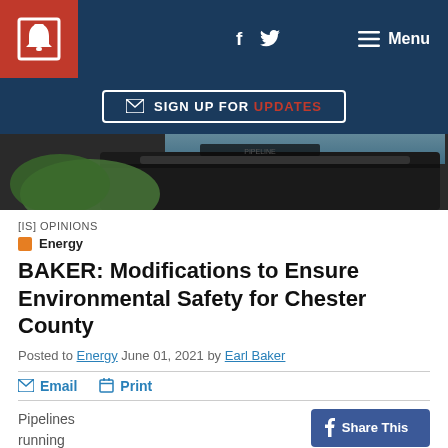f  [twitter icon]  Menu
✉ SIGN UP FOR UPDATES
[Figure (photo): Close-up photo of dark pipeline/utility equipment outdoors]
[IS] OPINIONS
Energy
BAKER: Modifications to Ensure Environmental Safety for Chester County
Posted to Energy June 01, 2021 by Earl Baker
✉ Email  🖨 Print
Pipelines running through Chester County are a constant debate
Share This
Tweet This